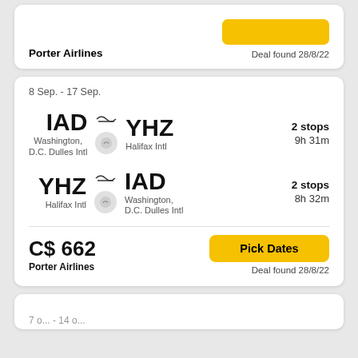Porter Airlines
Deal found 28/8/22
8 Sep. - 17 Sep.
IAD → YHZ, Washington, D.C. Dulles Intl to Halifax Intl, 2 stops, 9h 31m
YHZ → IAD, Halifax Intl to Washington, D.C. Dulles Intl, 2 stops, 8h 32m
C$ 662
Porter Airlines
Deal found 28/8/22